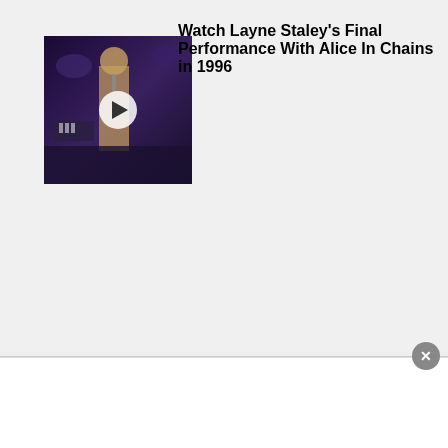[Figure (photo): Concert performer on stage, blue/purple lighting, with a play button overlay]
Watch Layne Staley's Final Performance With Alice In Chains in 1996
[Figure (photo): Rammstein performer on stage with red lighting and microphone]
Rammstein's First North American Show In 3 Years: See Setlist and Videos
[Figure (photo): Two performers on stage, partially cropped at bottom of page]
10 th... Alice In Chai...